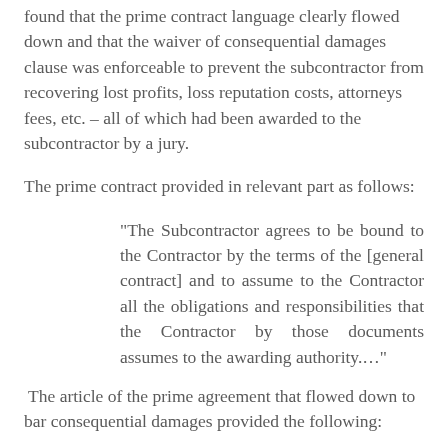found that the prime contract language clearly flowed down and that the waiver of consequential damages clause was enforceable to prevent the subcontractor from recovering lost profits, loss reputation costs, attorneys fees, etc. – all of which had been awarded to the subcontractor by a jury.
The prime contract provided in relevant part as follows:
“The Subcontractor agrees to be bound to the Contractor by the terms of the [general contract] and to assume to the Contractor all the obligations and responsibilities that the Contractor by those documents assumes to the awarding authority.…”
The article of the prime agreement that flowed down to bar consequential damages provided the following:
“The Contractor waives Claims against